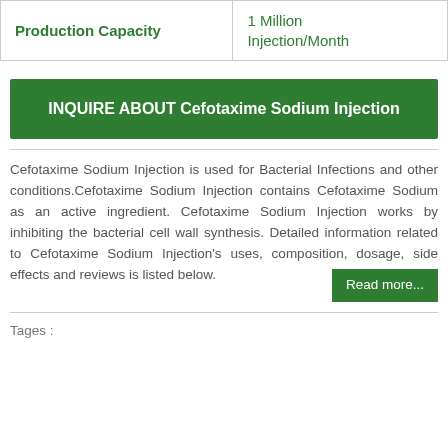| Production Capacity |  |
| --- | --- |
| Production Capacity | 1 Million Injection/Month |
INQUIRE ABOUT Cefotaxime Sodium Injection
Cefotaxime Sodium Injection is used for Bacterial Infections and other conditions.Cefotaxime Sodium Injection contains Cefotaxime Sodium as an active ingredient. Cefotaxime Sodium Injection works by inhibiting the bacterial cell wall synthesis. Detailed information related to Cefotaxime Sodium Injection's uses, composition, dosage, side effects and reviews is listed below.
Read more...
Tages :